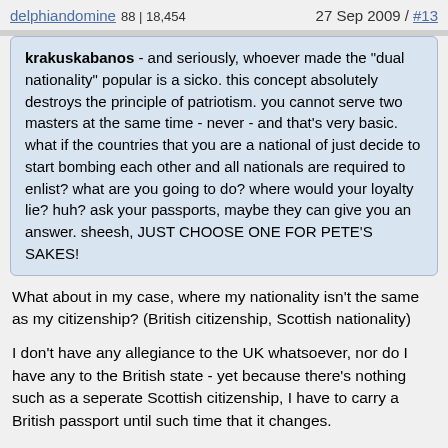delphiandomine 88 | 18,454   27 Sep 2009 / #13
krakuskabanos - and seriously, whoever made the "dual nationality" popular is a sicko. this concept absolutely destroys the principle of patriotism. you cannot serve two masters at the same time - never - and that's very basic. what if the countries that you are a national of just decide to start bombing each other and all nationals are required to enlist? what are you going to do? where would your loyalty lie? huh? ask your passports, maybe they can give you an answer. sheesh, JUST CHOOSE ONE FOR PETE'S SAKES!
What about in my case, where my nationality isn't the same as my citizenship? (British citizenship, Scottish nationality)
I don't have any allegiance to the UK whatsoever, nor do I have any to the British state - yet because there's nothing such as a seperate Scottish citizenship, I have to carry a British passport until such time that it changes.
asik 2 | 220   27 Sep 2009 / #14